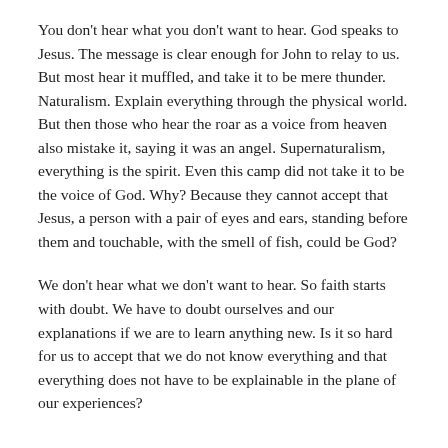You don't hear what you don't want to hear. God speaks to Jesus. The message is clear enough for John to relay to us. But most hear it muffled, and take it to be mere thunder. Naturalism. Explain everything through the physical world. But then those who hear the roar as a voice from heaven also mistake it, saying it was an angel. Supernaturalism, everything is the spirit. Even this camp did not take it to be the voice of God. Why? Because they cannot accept that Jesus, a person with a pair of eyes and ears, standing before them and touchable, with the smell of fish, could be God?
We don't hear what we don't want to hear. So faith starts with doubt. We have to doubt ourselves and our explanations if we are to learn anything new. Is it so hard for us to accept that we do not know everything and that everything does not have to be explainable in the plane of our experiences?